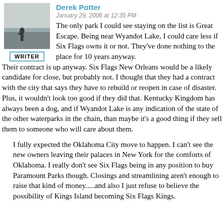Derek Potter
January 29, 2006 at 12:35 PM · The only park I could see staying on the list is Great Escape. Being near Wyandot Lake, I could care less if Six Flags owns it or not. They've done nothing to the place for 10 years anyway. Their contract is up anyway. Six Flags New Orleans would be a likely candidate for close, but probably not. I thought that they had a contract with the city that says they have to rebuild or reopen in case of disaster. Plus, it wouldn't look too good if they did that. Kentucky Kingdom has always been a dog, and if Wyandot Lake is any indication of the state of the other waterparks in the chain, than maybe it's a good thing if they sell them to someone who will care about them.
I fully expected the Oklahoma City move to happen. I can't see the new owners leaving their palaces in New York for the comforts of Oklahoma. I really don't see Six Flags being in any position to buy Paramount Parks though. Closings and streamlining aren't enough to raise that kind of money.....and also I just refuse to believe the possibility of Kings Island becoming Six Flags Kings.